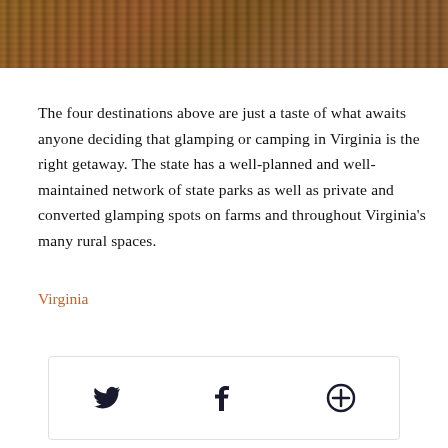[Figure (photo): Partial view of outdoor wooden furniture on mulch/dirt ground — chairs and a table in reddish-brown wood tones]
The four destinations above are just a taste of what awaits anyone deciding that glamping or camping in Virginia is the right getaway. The state has a well-planned and well-maintained network of state parks as well as private and converted glamping spots on farms and throughout Virginia's many rural spaces.
Virginia
[Figure (infographic): Social sharing icons bar: Twitter bird icon, Facebook f icon, and a circled plus/add icon]